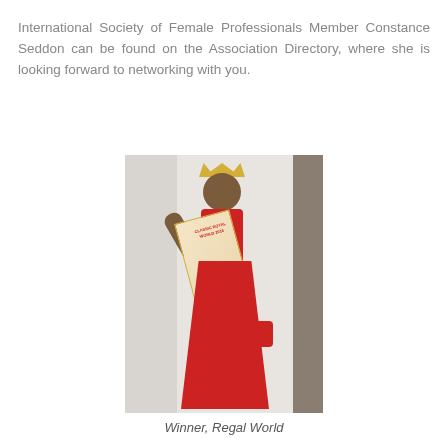International Society of Female Professionals Member Constance Seddon can be found on the Association Directory, where she is looking forward to networking with you.
[Figure (photo): A woman wearing a red gown and crown with a pageant sash, waving, standing in a room.]
Winner, Regal World